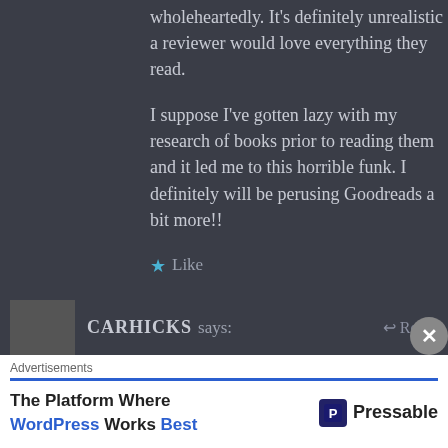wholeheartedly. It’s definitely unrealistic a reviewer would love everything they read.
I suppose I’ve gotten lazy with my research of books prior to reading them and it led me to this horrible funk. I definitely will be perusing Goodreads a bit more!!
★ Like
CARHICKS says:
Advertisements
The Platform Where WordPress Works Best